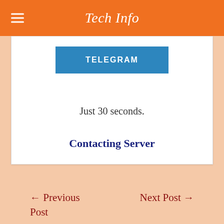Tech Info
TELEGRAM
Just 30 seconds.
Contacting Server
← Previous Post
Next Post →
Related Posts